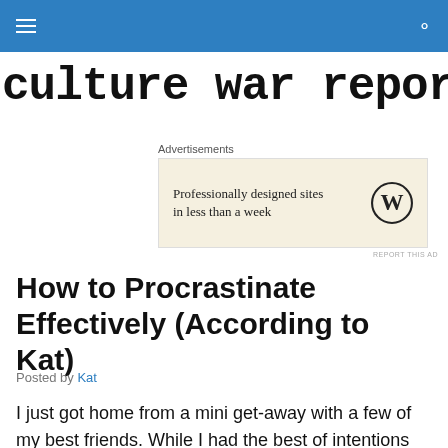culture war reporters
Advertisements
[Figure (screenshot): WordPress advertisement banner with text 'Professionally designed sites in less than a week' and WordPress logo]
REPORT THIS AD
How to Procrastinate Effectively (According to Kat)
Posted by Kat
I just got home from a mini get-away with a few of my best friends. While I had the best of intentions when it came to prepping this post ahead of time, here I am, a few hours away from when it should go up, feeling completely